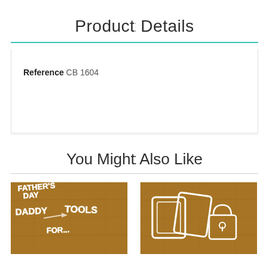Product Details
| Reference |
| --- |
| CB 1604 |
You Might Also Like
[Figure (photo): Product photo showing chipboard embellishments with text 'Father's Day', 'Daddy', 'Tools', 'For' on a cork/wood background]
[Figure (photo): Product photo showing chipboard embellishments shaped like household items on a cork/wood background]